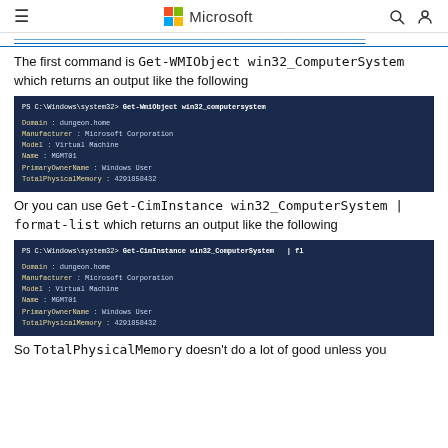Microsoft
The first command is Get-WMIObject win32_ComputerSystem which returns an output like the following
[Figure (screenshot): PowerShell terminal showing Get-WmiObject win32_computersystem command output with fields: Domain: dungeon.home, Manufacturer: Microsoft Corporation, Model: Virtual Machine, Name: MGMT01, PrimaryOwnerName: Windows User, TotalPhysicalMemory: 4291858432]
Or you can use Get-CimInstance win32_ComputerSystem | format-list which returns an output like the following
[Figure (screenshot): PowerShell terminal showing Get-CimInstance win32_ComputerSystem | fl command output with fields: Domain: dungeon.home, Manufacturer: Microsoft Corporation, Model: Virtual Machine, Name: MGMT01, PrimaryOwnerName: Windows User, TotalPhysicalMemory: 4291858432]
So TotalPhysicalMemory doesn't do a lot of good unless you